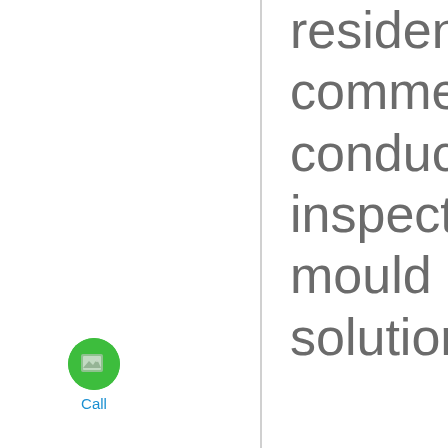residential or commercial property, conduct a full inspection, and offer mould prevention solutions to suit your
[Figure (illustration): Green circular call button icon with a phone/image symbol, with 'Call' label beneath in blue text]